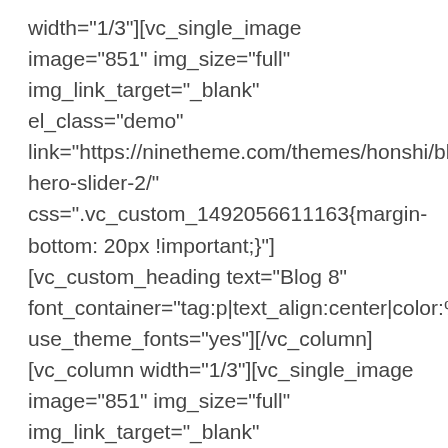width="1/3"][vc_single_image image="851" img_size="full" onclick="custom_link" img_link_target="_blank" el_class="demo" link="https://ninetheme.com/themes/honshi/blog-hero-slider-2/" css=".vc_custom_1492056611163{margin-bottom: 20px !important;}"][vc_custom_heading text="Blog 8" font_container="tag:p|text_align:center|color:%238d8d8d" use_theme_fonts="yes"][/vc_column][vc_column width="1/3"][vc_single_image image="851" img_size="full" onclick="custom_link" img_link_target="_blank" el_class="demo" link="https://ninetheme.com/themes/honshi/blog/" css=".vc_custom_1492056643428{margin-bottom: 20px !important;}"][vc_custom_heading text="Blog 9" font_container="tag:p|text_align:center|color:%238d8d8d"